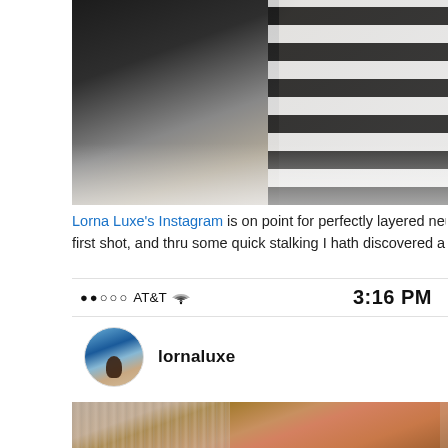[Figure (screenshot): Top portion of a blog post showing a photo with dark and light diagonal elements — appears to be a keyboard and marble surface, partially visible, cropped at the top of the page.]
Lorna Luxe's Instagram is on point for perfectly layered neutrals. Also, I stalked first shot, and thru some quick stalking I hath discovered a stellar new source f
[Figure (screenshot): Instagram app screenshot showing status bar with signal dots, AT&T carrier, WiFi icon, time 3:16 PM, and the profile 'lornaluxe' with avatar, followed by a photo of a person wearing a knit sweater and layered necklaces.]